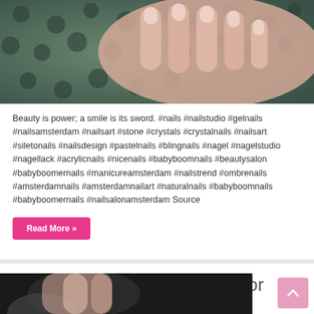[Figure (photo): Close-up photo of a hand with manicured nails on a dark teal/green patterned fabric background]
Beauty is power; a smile is its sword. #nails #nailstudio #gelnails #nailsamsterdam #nailsart #stone #crystals #crystalnails #nailsart #siletonails #nailsdesign #pastelnails #blingnails #nagel #nagelstudio #nagellack #acrylicnails #nicenails #babyboomnails #beautysalon #babyboomernails #manicureamsterdam #nailstrend #ombrenails #amsterdamnails #amsterdamnailart #naturalnails #babyboomnails #babyboomernails #nailsalonamsterdam Source
Read More »
There is nothing more rare, nor more beautiful, than a woman being unapologetica
April 4, 2020  Nail Design Ideas  0
[Figure (photo): Partial view of a hand with nail art, cropped at bottom of page]